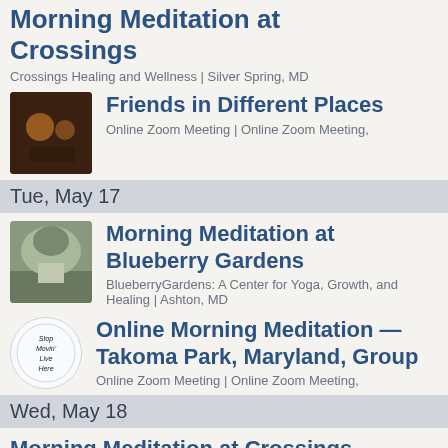Morning Meditation at Crossings
Crossings Healing and Wellness | Silver Spring, MD
Friends in Different Places
Online Zoom Meeting | Online Zoom Meeting,
Tue, May 17
Morning Meditation at Blueberry Gardens
BlueberryGardens: A Center for Yoga, Growth, and Healing | Ashton, MD
Online Morning Meditation — Takoma Park, Maryland, Group
Online Zoom Meeting | Online Zoom Meeting,
Wed, May 18
Morning Meditation at Crossings
Crossings Healing and Wellness | Silver Spring, MD
Sunrise Sunshine Practice...